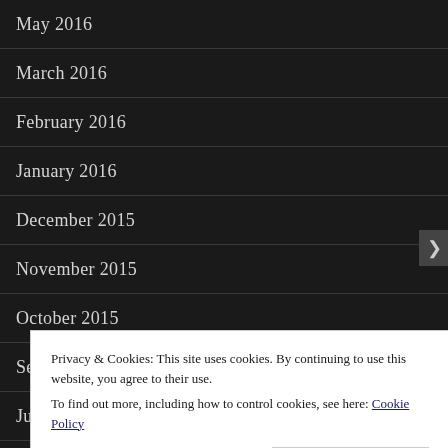May 2016
March 2016
February 2016
January 2016
December 2015
November 2015
October 2015
September 2015
July 2015
Privacy & Cookies: This site uses cookies. By continuing to use this website, you agree to their use.
To find out more, including how to control cookies, see here: Cookie Policy
Close and accept